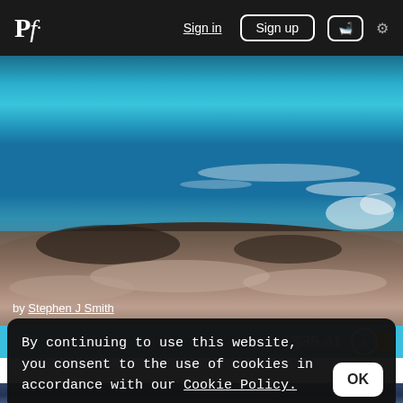Pf. Sign in Sign up 🛒 ⚙
[Figure (photo): Coastal landscape photograph showing vivid blue ocean water with waves crashing over rocky shoreline with rust-colored rocks in the foreground]
by Stephen J Smith
$35.41
By continuing to use this website, you consent to the use of cookies in accordance with our Cookie Policy.
OK